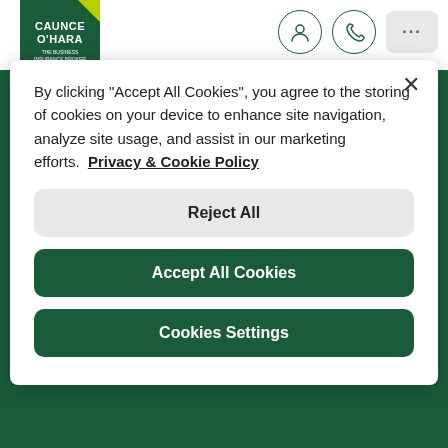[Figure (logo): Caunce O'Hara logo — dark green square with white bold text 'CAUNCE O'HARA' and small tagline 'THE BUSINESS INSURANCE BROKER', yellow triangle in upper right corner]
[Figure (screenshot): Website navigation bar with user account icon, phone icon, and three-dots menu button on white background]
By clicking “Accept All Cookies”, you agree to the storing of cookies on your device to enhance site navigation, analyze site usage, and assist in our marketing efforts.  Privacy & Cookie Policy
Reject All
Accept All Cookies
Cookies Settings